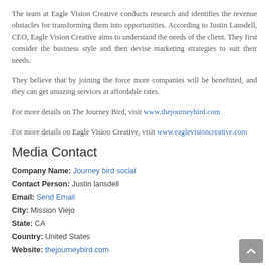The team at Eagle Vision Creative conducts research and identifies the revenue obstacles for transforming them into opportunities. According to Justin Lansdell, CEO, Eagle Vision Creative aims to understand the needs of the client. They first consider the business style and then devise marketing strategies to suit their needs.
They believe that by joining the force more companies will be benefitted, and they can get amazing services at affordable rates.
For more details on The Journey Bird, visit www.thejourneybird.com
For more details on Eagle Vision Creative, visit www.eaglevisioncreative.com
Media Contact
Company Name: Journey bird social
Contact Person: Justin lansdell
Email: Send Email
City: Mission Viejo
State: CA
Country: United States
Website: thejourneybird.com